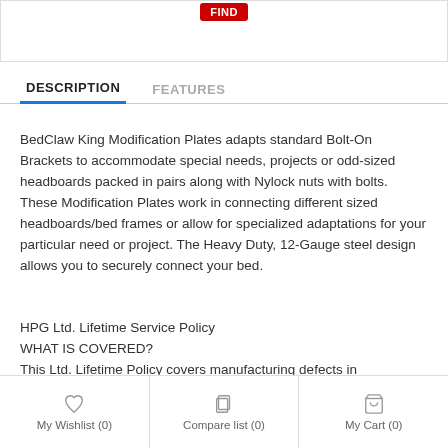[Figure (other): Red badge/button at top of product page]
DESCRIPTION   FEATURES
BedClaw King Modification Plates adapts standard Bolt-On Brackets to accommodate special needs, projects or odd-sized headboards packed in pairs along with Nylock nuts with bolts. These Modification Plates work in connecting different sized headboards/bed frames or allow for specialized adaptations for your particular need or project. The Heavy Duty, 12-Gauge steel design allows you to securely connect your bed.
HPG Ltd. Lifetime Service Policy
WHAT IS COVERED?
This Ltd. Lifetime Policy covers manufacturing defects in the product you purchased directly from Homeplace Group
other piece or pieces/unit. This limited policy is provided
My Wishlist (0)   Compare list (0)   My Cart (0)